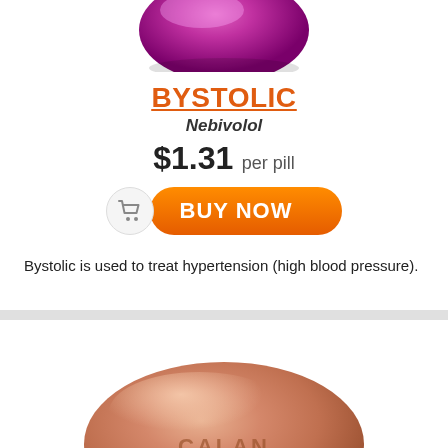[Figure (photo): Purple/magenta oval pill tablet, partially shown at top of card]
BYSTOLIC
Nebivolol
$1.31 per pill
[Figure (infographic): Orange BUY NOW button with shopping cart icon]
Bystolic is used to treat hypertension (high blood pressure).
[Figure (photo): Peach/salmon colored oval pill tablet labeled CALAN]